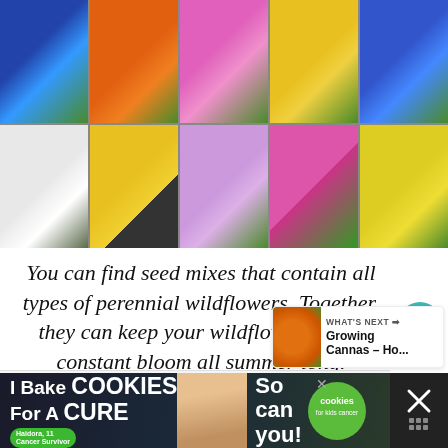[Figure (photo): A 5x2 grid collage of colorful wildflowers including blue cornflowers, orange flowers, pink flowers, yellow daisies, blue flowers, white flowers, yellow black-eyed Susans, pink asters, pink coneflowers, and yellow flowers on green backgrounds.]
You can find seed mixes that contain all types of perennial wildflowers. Together, they can keep your wildflower bed in constant bloom all summer long.
[Figure (other): WHAT'S NEXT arrow widget showing 'Growing Cannas – Ho...' with an orange flower thumbnail]
[Figure (other): Advertisement banner: 'I Bake COOKIES For A CURE' with a person and cookies badge, 'So can you!' text, and close buttons]